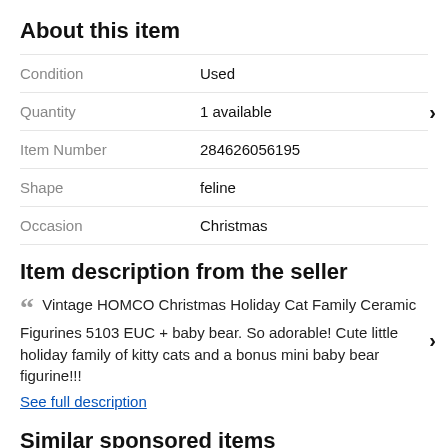About this item
| Property | Value |
| --- | --- |
| Condition | Used |
| Quantity | 1 available |
| Item Number | 284626056195 |
| Shape | feline |
| Occasion | Christmas |
Item description from the seller
Vintage HOMCO Christmas Holiday Cat Family Ceramic Figurines 5103 EUC + baby bear. So adorable! Cute little holiday family of kitty cats and a bonus mini baby bear figurine!!!
See full description
Similar sponsored items
[Figure (photo): Thumbnail images of similar sponsored items — blue product image and brown wooden item]